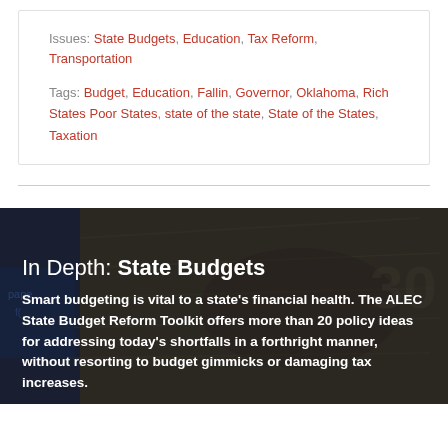Issues: State Budgets, Education, Tax Reform, Transportation
Tags: Budget, Education, Fallin, Governor, Oklahoma, Rich States Poor States, state of the state, State of the States, Taxation
[Figure (photo): Dark overlay image of paper currency (US dollar bills) with blue tones on the left side, serving as background for an article about state budgets.]
In Depth: State Budgets
Smart budgeting is vital to a state's financial health. The ALEC State Budget Reform Toolkit offers more than 20 policy ideas for addressing today's shortfalls in a forthright manner, without resorting to budget gimmicks or damaging tax increases.